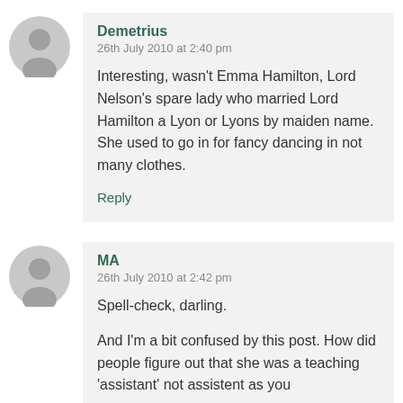Demetrius
26th July 2010 at 2:40 pm
Interesting, wasn't Emma Hamilton, Lord Nelson's spare lady who married Lord Hamilton a Lyon or Lyons by maiden name. She used to go in for fancy dancing in not many clothes.
Reply
MA
26th July 2010 at 2:42 pm
Spell-check, darling.
And I'm a bit confused by this post. How did people figure out that she was a teaching 'assistant' not assistent as you